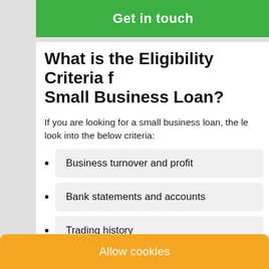Get in touch
What is the Eligibility Criteria f Small Business Loan?
If you are looking for a small business loan, the le look into the below criteria:
Business turnover and profit
Bank statements and accounts
Trading history
Payment history
Allow cookies